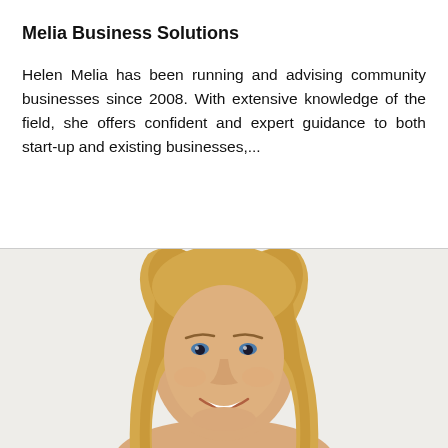Melia Business Solutions
Helen Melia has been running and advising community businesses since 2008. With extensive knowledge of the field, she offers confident and expert guidance to both start-up and existing businesses,...
[Figure (photo): Headshot photograph of a blonde woman smiling, against a light background.]